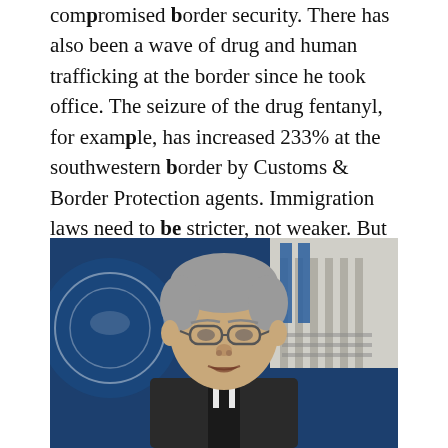compromised border security. There has also been a wave of drug and human trafficking at the border since he took office. The seizure of the drug fentanyl, for example, has increased 233% at the southwestern border by Customs & Border Protection agents. Immigration laws need to be stricter, not weaker. But President Biden knows he can break all of his promises because the radical left will whip votes for him again in 2024, regardless of what he does right now.
[Figure (photo): Photo of a gray-haired man with glasses speaking at a podium, with a blue Department of Justice seal visible on the left and a white government building (likely the White House or Capitol) visible in the background on the right.]